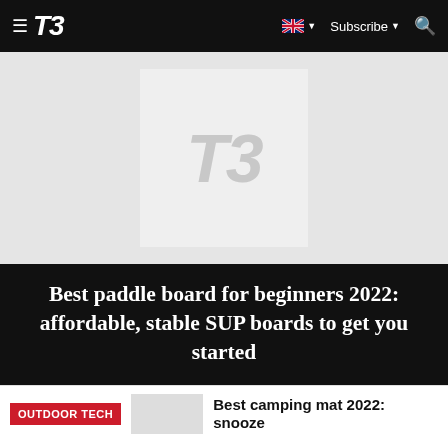T3 — Subscribe
[Figure (logo): T3 logo placeholder image with light grey background and large T3 watermark]
Best paddle board for beginners 2022: affordable, stable SUP boards to get you started
OUTDOOR TECH
Best camping mat 2022: snooze